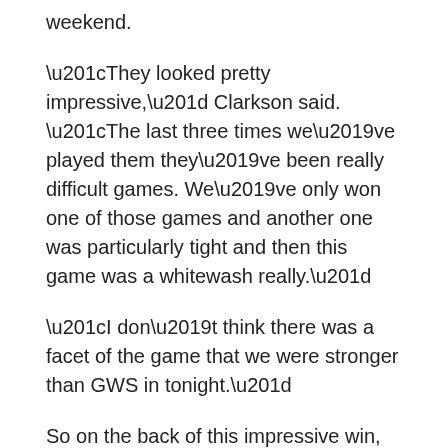weekend.
“They looked pretty impressive,” Clarkson said. “The last three times we’ve played them they’ve been really difficult games. We’ve only won one of those games and another one was particularly tight and then this game was a whitewash really.”
“I don’t think there was a facet of the game that we were stronger than GWS in tonight.”
So on the back of this impressive win, has GWS had their defining moment? Can the Giants have a real tilt at the flag this year?
They will definitely be there-about if they continue in this fashion. But to go all the way and win their inaugural premiership? It might be a bit of a reach. Especially given the